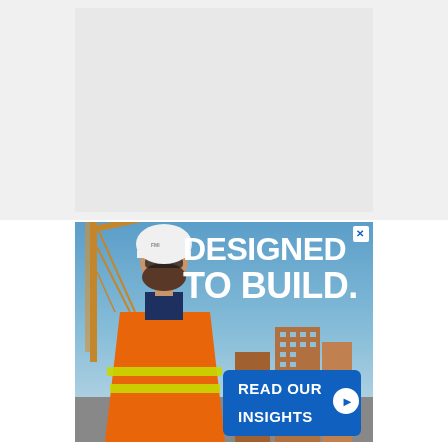[Figure (other): White/light gray blank rectangular area occupying the top half of the page]
[Figure (photo): Advertisement banner showing a construction worker in orange safety vest and white hard hat standing at a job site with cranes and buildings in background. Text reads 'DESIGNED TO BUILD.' with a blue 'READ OUR INSIGHTS' call-to-action button with arrow.]